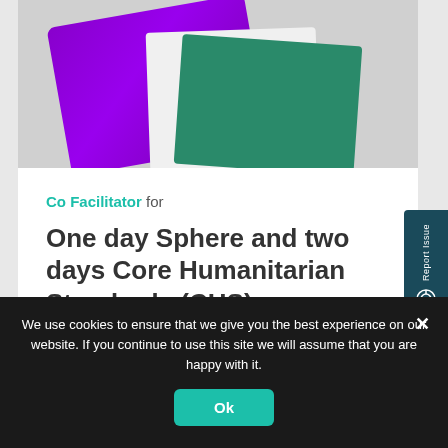[Figure (photo): Photo of purple and green book covers fanned out on a surface]
Co Facilitator for
One day Sphere and two days Core Humanitarian Standards (CHS)
We use cookies to ensure that we give you the best experience on our website. If you continue to use this site we will assume that you are happy with it.
Ok